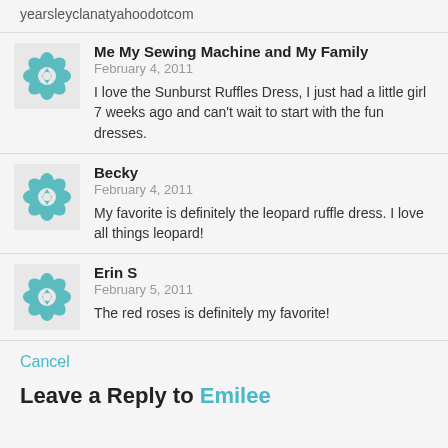yearsleyclanatyahoodotcom
Me My Sewing Machine and My Family
February 4, 2011
I love the Sunburst Ruffles Dress, I just had a little girl 7 weeks ago and can't wait to start with the fun dresses.
Becky
February 4, 2011
My favorite is definitely the leopard ruffle dress. I love all things leopard!
Erin S
February 5, 2011
The red roses is definitely my favorite!
Cancel
Leave a Reply to Emilee